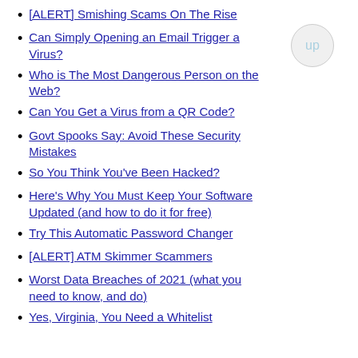[ALERT] Smishing Scams On The Rise
Can Simply Opening an Email Trigger a Virus?
Who is The Most Dangerous Person on the Web?
Can You Get a Virus from a QR Code?
Govt Spooks Say: Avoid These Security Mistakes
So You Think You've Been Hacked?
Here's Why You Must Keep Your Software Updated (and how to do it for free)
Try This Automatic Password Changer
[ALERT] ATM Skimmer Scammers
Worst Data Breaches of 2021 (what you need to know, and do)
Yes, Virginia, You Need a Whitelist